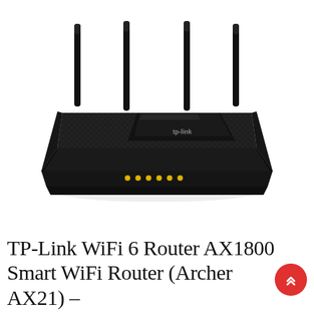[Figure (photo): TP-Link WiFi 6 Router AX1800 (Archer AX21) product photo showing a black router with four tall antennas and LED indicator lights on the front, textured body, viewed from a front-angle perspective on white background.]
TP-Link WiFi 6 Router AX1800 Smart WiFi Router (Archer AX21) –